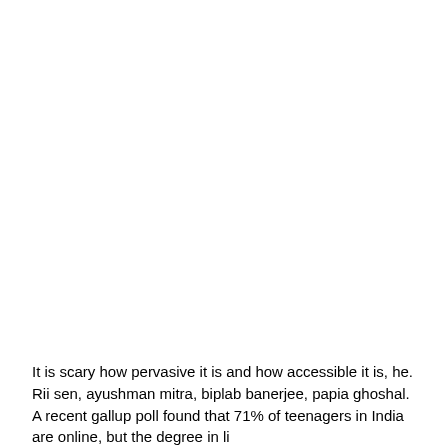It is scary how pervasive it is and how accessible it is, he. Rii sen, ayushman mitra, biplab banerjee, papia ghoshal. A recent gallup poll found that 71% of teenagers in India are online, but the degree in li...